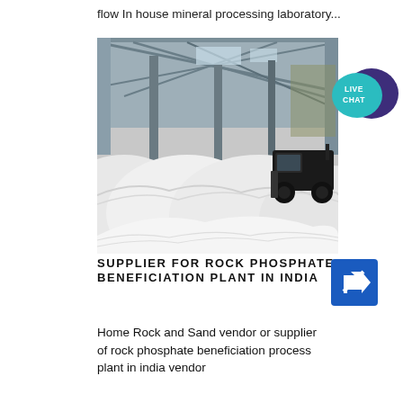flow In house mineral processing laboratory...
[Figure (photo): Interior of a large industrial warehouse facility showing piles of white powdery mineral (rock phosphate) on the floor, with steel support columns, metal roof structure, and a front-loader bulldozer/tractor moving material in the background.]
[Figure (infographic): Live Chat speech bubble icon in teal/cyan color with dark purple chat bubble behind it, text reading LIVE CHAT]
SUPPLIER FOR ROCK PHOSPHATE BENEFICIATION PLANT IN INDIA
[Figure (infographic): Blue square icon with white upward-right arrow (link/navigation icon)]
Home Rock and Sand vendor or supplier of rock phosphate beneficiation process plant in india vendor...